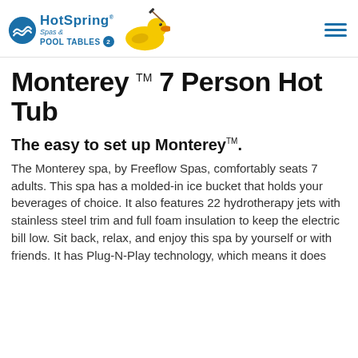[Figure (logo): HotSpring Spas & Pool Tables logo with circular wave icon and rubber duck illustration]
Monterey ™ 7 Person Hot Tub
The easy to set up Monterey ™.
The Monterey spa, by Freeflow Spas, comfortably seats 7 adults. This spa has a molded-in ice bucket that holds your beverages of choice. It also features 22 hydrotherapy jets with stainless steel trim and full foam insulation to keep the electric bill low. Sit back, relax, and enjoy this spa by yourself or with friends. It has Plug-N-Play technology, which means it does